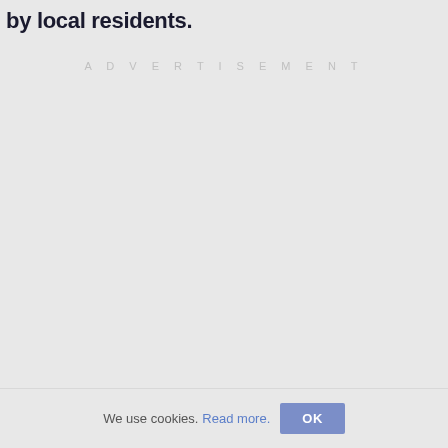by local residents.
ADVERTISEMENT
We use cookies. Read more. OK